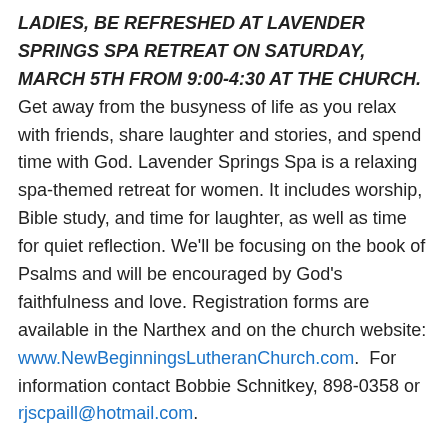LADIES, BE REFRESHED AT LAVENDER SPRINGS SPA RETREAT ON SATURDAY, MARCH 5TH FROM 9:00-4:30 AT THE CHURCH. Get away from the busyness of life as you relax with friends, share laughter and stories, and spend time with God. Lavender Springs Spa is a relaxing spa-themed retreat for women. It includes worship, Bible study, and time for laughter, as well as time for quiet reflection. We'll be focusing on the book of Psalms and will be encouraged by God's faithfulness and love. Registration forms are available in the Narthex and on the church website: www.NewBeginningsLutheranChurch.com. For information contact Bobbie Schnitkey, 898-0358 or rjscpaill@hotmail.com.
WICCA, PAGANISM, AND WITCHCRAFT EXPLORED AT LIFETREE CAFÉ